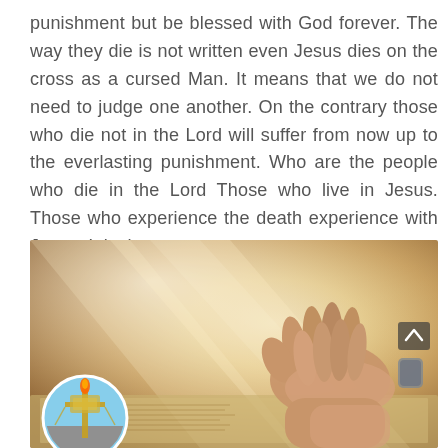punishment but be blessed with God forever. The way they die is not written even Jesus dies on the cross as a cursed Man. It means that we do not need to judge one another. On the contrary those who die not in the Lord will suffer from now up to the everlasting punishment. Who are the people who die in the Lord Those who live in Jesus. Those who experience the death experience with Jesus. It is the same ...
[Figure (photo): A photograph of clasped/praying hands resting on an open Bible, with warm golden light rays emanating from the background. In the lower left is a circular profile image showing a decorative golden cross or menorah-like object against a blue sky.]